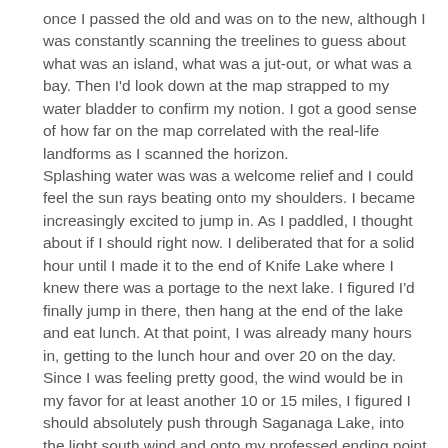once I passed the old and was on to the new, although I was constantly scanning the treelines to guess about what was an island, what was a jut-out, or what was a bay. Then I'd look down at the map strapped to my water bladder to confirm my notion. I got a good sense of how far on the map correlated with the real-life landforms as I scanned the horizon.
Splashing water was was a welcome relief and I could feel the sun rays beating onto my shoulders. I became increasingly excited to jump in. As I paddled, I thought about if I should right now. I deliberated that for a solid hour until I made it to the end of Knife Lake where I knew there was a portage to the next lake. I figured I'd finally jump in there, then hang at the end of the lake and eat lunch. At that point, I was already many hours in, getting to the lunch hour and over 20 on the day. Since I was feeling pretty good, the wind would be in my favor for at least another 10 or 15 miles, I figured I should absolutely push through Saganaga Lake, into the light south wind and onto my professed ending point of Sea Gull Lake. As I got to the back bay of Knife Lake, I saw a campsite and camper at the site to the left, then the indistinguishable shoreline where there was supposed to be my portage. There was an island with seagulls laying down and sunning, and a few others swarming